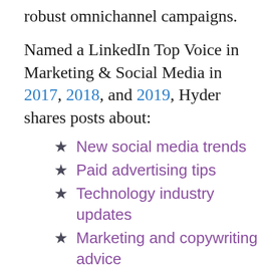robust omnichannel campaigns.
Named a LinkedIn Top Voice in Marketing & Social Media in 2017, 2018, and 2019, Hyder shares posts about:
New social media trends
Paid advertising tips
Technology industry updates
Marketing and copywriting advice
Perhaps of most value, however, is the Zen Media blog. The blog has